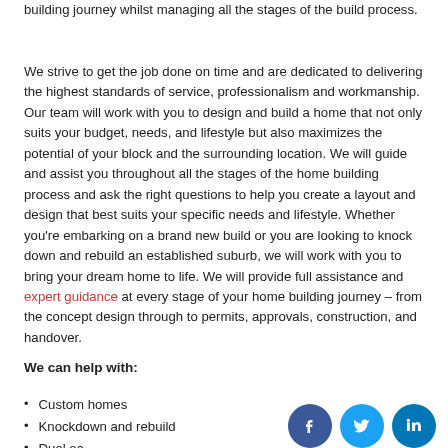building journey whilst managing all the stages of the build process.
We strive to get the job done on time and are dedicated to delivering the highest standards of service, professionalism and workmanship. Our team will work with you to design and build a home that not only suits your budget, needs, and lifestyle but also maximizes the potential of your block and the surrounding location. We will guide and assist you throughout all the stages of the home building process and ask the right questions to help you create a layout and design that best suits your specific needs and lifestyle. Whether you're embarking on a brand new build or you are looking to knock down and rebuild an established suburb, we will work with you to bring your dream home to life. We will provide full assistance and expert guidance at every stage of your home building journey – from the concept design through to permits, approvals, construction, and handover.
We can help with:
Custom homes
Knockdown and rebuild
[Figure (illustration): Social media icons: Facebook (dark blue circle), Twitter (light blue circle), LinkedIn (blue circle)]